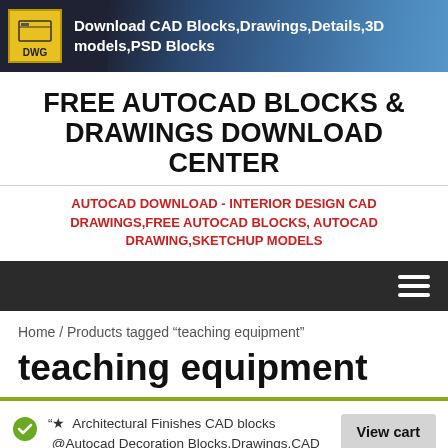Download CAD Blocks,Drawings,Details,3D models,PSD Blocks
FREE AUTOCAD BLOCKS & DRAWINGS DOWNLOAD CENTER
AUTOCAD DOWNLOAD - INTERIOR DESIGN CAD DRAWINGS,FREE AUTOCAD BLOCKS, AUTOCAD DRAWING,SKETCHUP MODELS
Home / Products tagged “teaching equipment”
teaching equipment
“★  Architectural Finishes CAD blocks  @Autocad Decoration Blocks,Drawings,CAD Details,Elevation” has been
View cart